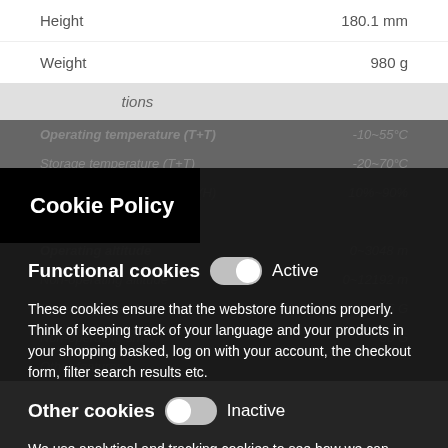| Property | Value |
| --- | --- |
| Height | 180.1 mm |
| Weight | 980 g |
| Operating temperature (T+T) | -10~55°C |
| Storage temperature (T+T) | -20~70°C |
| Operating relative humidity (H) | 10%~90% |
| Spring force ranking (N) |  |
| Operating altitude | 0~3048 m |
| Non-operating altitude | 0~12192 m |
| Operating shock |  |
| Non-operating shock |  |
| Other features |  |
Cookie Policy
Functional cookies
These cookies ensure that the webstore functions properly. Think of keeping track of your language and your products in your shopping basked, log on with your account, the checkout form, filter search results etc.
Other cookies
We use analytical and tracking cookies to see how we can improve the webstore and how we can adapt content and potential advertisements to your preference.
Save Settings